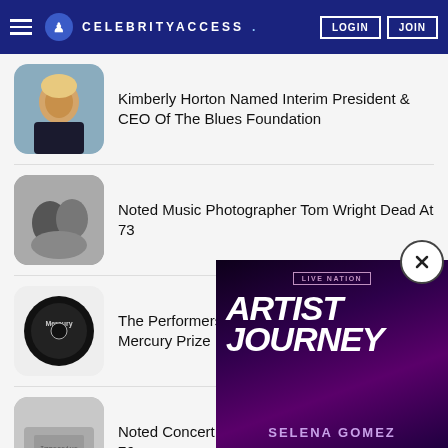CELEBRITYACCESS. LOGIN JOIN
Kimberly Horton Named Interim President & CEO Of The Blues Foundation
Noted Music Photographer Tom Wright Dead At 73
The Performers Announced For The 2022 Mercury Prize
Noted Concert Promoter Ben Ferrell Dead At 76
Warner Recorded M... Daniels Music
[Figure (screenshot): Live Nation Artist Journey Selena Gomez advertisement overlay]